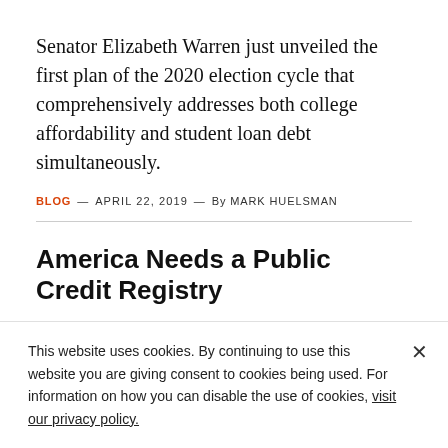Senator Elizabeth Warren just unveiled the first plan of the 2020 election cycle that comprehensively addresses both college affordability and student loan debt simultaneously.
BLOG — APRIL 22, 2019 — By MARK HUELSMAN
America Needs a Public Credit Registry
This website uses cookies. By continuing to use this website you are giving consent to cookies being used. For information on how you can disable the use of cookies, visit our privacy policy.